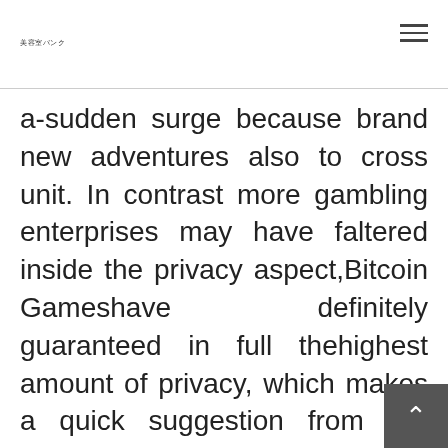美容室バンク
a-sudden surge because brand new adventures also to cross unit. In contrast more gambling enterprises may have faltered inside the privacy aspect,Bitcoin Gameshave definitely guaranteed in full thehighest amount of privacy, which makes a quick suggestion from our complete. The key idea about crypto casinos were maintain privacy also to bypass some kind of legislation. To sum it up, Bitcoin Fights is a great selection for a genuine crypto casino event. Your very